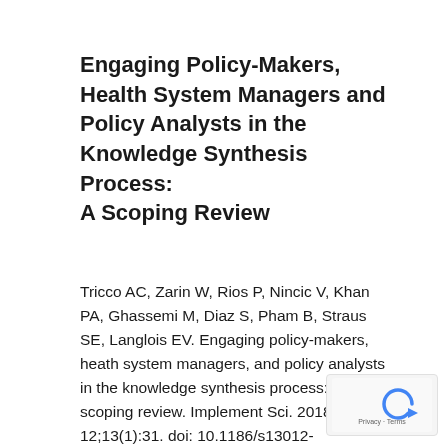Engaging Policy-Makers, Health System Managers and Policy Analysts in the Knowledge Synthesis Process: A Scoping Review
Tricco AC, Zarin W, Rios P, Nincic V, Khan PA, Ghassemi M, Diaz S, Pham B, Straus SE, Langlois EV. Engaging policy-makers, heath system managers, and policy analysts in the knowledge synthesis process: a scoping review. Implement Sci. 2018 Feb 12;13(1):31. doi: 10.1186/s13012-